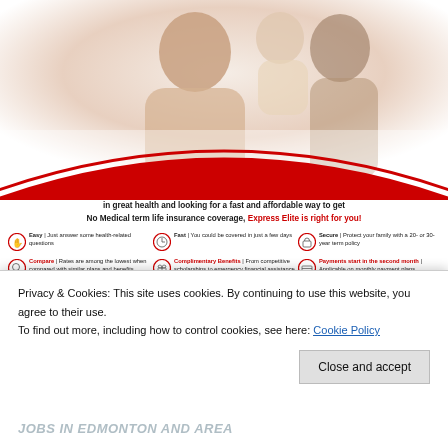[Figure (photo): Family photo showing a woman and man holding a baby/young child, white background, cropped at top]
If you're between 18 and 60 years of age, in great health and looking for a fast and affordable way to get No Medical term life insurance coverage, Express Elite is right for you!
Easy | Just answer some health-related questions
Fast | You could be covered in just a few days
Secure | Protect your family with a 20- or 30-year term policy
Compare | Rates are among the lowest when compared with similar plans and benefits
Complimentary Benefits | From competitive scholarships to emergency financial assistance programs and more
Payments start in the second month | Applicable on monthly payment plans
Call today for a free no-obligation quote.
(780)807-4743 for Edmonton, (403)400-0953 for Calgary, (604)445-6140 for Vancouver, (306)750-7911 for Saskatchewan
Privacy & Cookies: This site uses cookies. By continuing to use this website, you agree to their use.
To find out more, including how to control cookies, see here: Cookie Policy
Close and accept
JOBS IN EDMONTON AND AREA